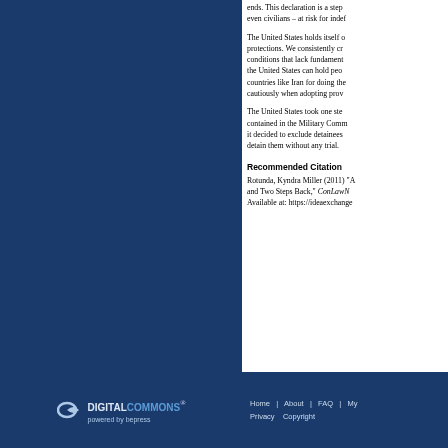ends. This declaration is a step towards putting even civilians – at risk for indefinite detention.
The United States holds itself out as a champion of human rights protections. We consistently criticize other countries for conditions that lack fundamental fairness, yet when the United States can hold people indefinitely without trial, countries like Iran for doing the same? We need to proceed cautiously when adopting provisions like these.
The United States took one step forward in the protections contained in the Military Commissions Act of 2009, but then it decided to exclude detainees from these protections and detain them without any trial.
Recommended Citation
Rotunda, Kyndra Miller (2011) "A... and Two Steps Back," ConLawNow...
Available at: https://ideaexchange...
[Figure (logo): Digital Commons powered by bepress logo in white and blue on dark blue background]
Home | About | FAQ | My... Privacy Copyright